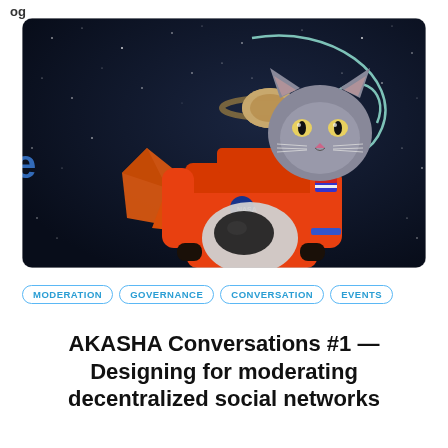og
[Figure (photo): A person wearing an orange NASA astronaut suit holding a helmet, with a gray cat's head digitally placed on the person's body. Behind them is a space background with stars, a planet (Saturn), a colorful geometric shape, and a swirling white line. A partial letter 'e' is visible on the left edge.]
MODERATION
GOVERNANCE
CONVERSATION
EVENTS
AKASHA Conversations #1 — Designing for moderating decentralized social networks